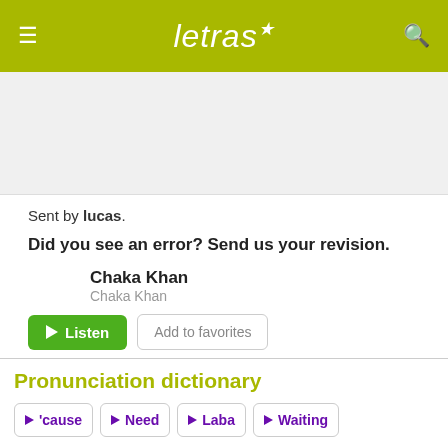letras
[Figure (other): Gray advertisement placeholder banner]
Sent by lucas.
Did you see an error? Send us your revision.
Chaka Khan
Chaka Khan
Listen   Add to favorites
Pronunciation dictionary
'cause
Need
Laba
Waiting